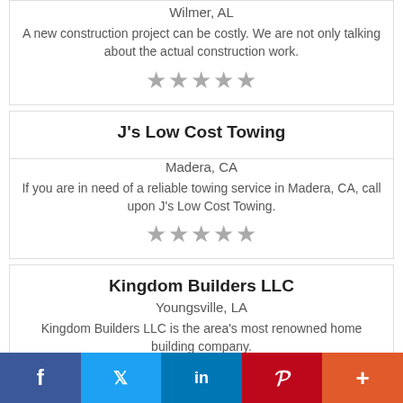Wilmer, AL
A new construction project can be costly. We are not only talking about the actual construction work.
★★★★★
J's Low Cost Towing
Madera, CA
If you are in need of a reliable towing service in Madera, CA, call upon J's Low Cost Towing.
★★★★★
Kingdom Builders LLC
Youngsville, LA
Kingdom Builders LLC is the area's most renowned home building company.
★★★★★
f  Twitter  in  Pinterest  +